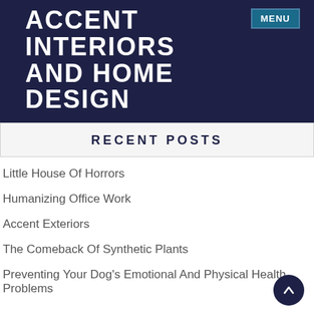ACCENT INTERIORS AND HOME DESIGN
RECENT POSTS
Little House Of Horrors
Humanizing Office Work
Accent Exteriors
The Comeback Of Synthetic Plants
Preventing Your Dog's Emotional And Physical Health Problems